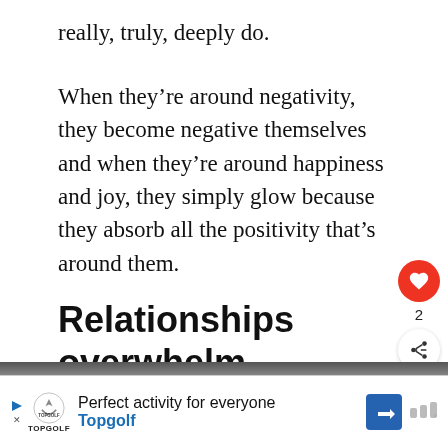really, truly, deeply do.
When they’re around negativity, they become negative themselves and when they’re around happiness and joy, they simply glow because they absorb all the positivity that’s around them.
Relationships overwhelm them
[Figure (other): UI overlay with heart/like button showing count 2 and share button]
[Figure (other): What's Next promo widget with thumbnail and text 'Are You Having An...']
[Figure (other): Topgolf advertisement banner with logo, text 'Perfect activity for everyone', Topgolf branding in blue]